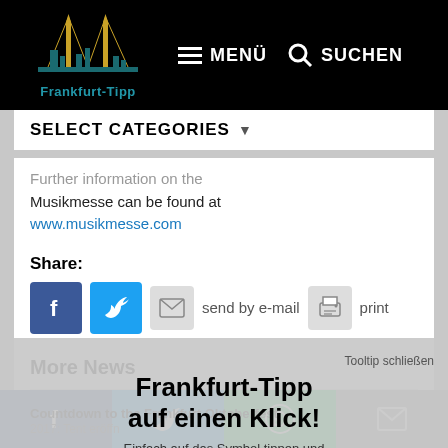Frankfurt-Tipp — MENÜ  SUCHEN
SELECT CATEGORIES
Further information on the Musikmesse can be found at www.musikmesse.com
Share:
[Figure (screenshot): Social share buttons: Facebook, Twitter, send by e-mail, print]
More News
Open-air cinema spectacle High Rise
Cinema celebrates succ
[Figure (screenshot): Tooltip overlay: Frankfurt-Tipp auf einen Klick! Einfach auf das Symbol tippen und zum Home-Bildschirm hinzufügen.]
Countdown to the Frankfurt Oktoberfest 2017: Tent eröffn
Facebook  Twitter  WhatsApp  Email